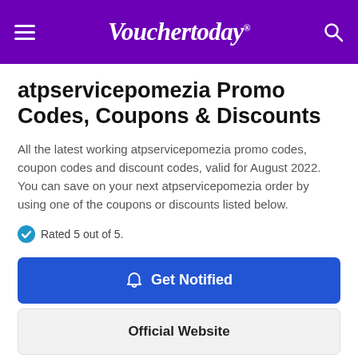Vouchertoday®
atpservicepomezia Promo Codes, Coupons & Discounts
All the latest working atpservicepomezia promo codes, coupon codes and discount codes, valid for August 2022. You can save on your next atpservicepomezia order by using one of the coupons or discounts listed below.
Rated 5 out of 5.
Get Notified
Official Website